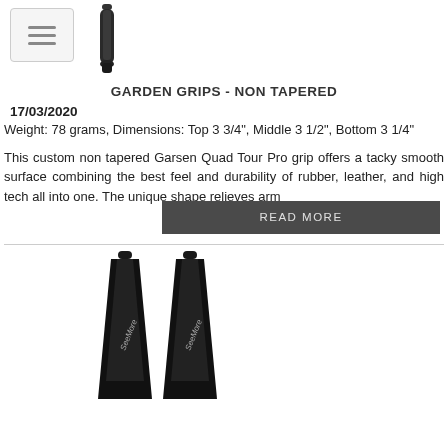[Figure (photo): Menu/hamburger button icon (three horizontal lines in a rounded rectangle) and a dark tapered garden grip product image at the top]
GARDEN GRIPS - NON TAPERED
17/03/2020
Weight: 78 grams, Dimensions: Top 3 3/4", Middle 3 1/2", Bottom 3 1/4"
This custom non tapered Garsen Quad Tour Pro grip offers a tacky smooth surface combining the best feel and durability of rubber, leather, and high tech all into one. The unique shape relieves arm
READ MORE
[Figure (photo): Two black SeeMore branded putter grips side by side, tapered at the bottom, with SeeMore text visible on both grips]